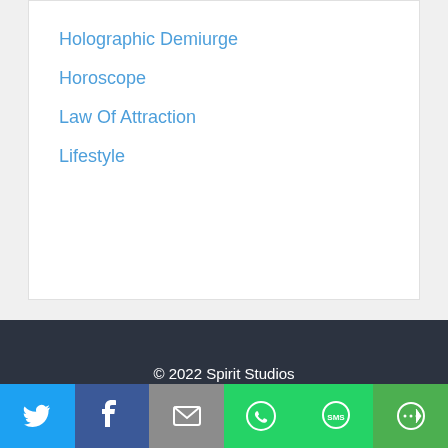Holographic Demiurge
Horoscope
Law Of Attraction
Lifestyle
© 2022 Spirit Studios
Terms
Privacy
[Figure (infographic): Social sharing bar with icons for Twitter, Facebook, Email, WhatsApp, SMS, and More]